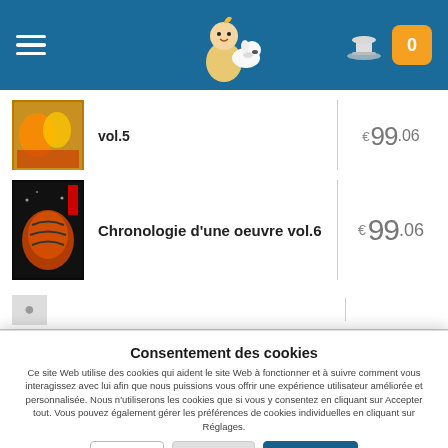[Figure (screenshot): Navigation header with hamburger menu, Tintin logo, hat icon, and cart badge showing 0]
vol.5 — € 99.06
Chronologie d'une oeuvre vol.6 — € 99.06
Consentement des cookies
Ce site Web utilise des cookies qui aident le site Web à fonctionner et à suivre comment vous interagissez avec lui afin que nous puissions vous offrir une expérience utilisateur améliorée et personnalisée. Nous n'utiliserons les cookies que si vous y consentez en cliquant sur Accepter tout. Vous pouvez également gérer les préférences de cookies individuelles en cliquant sur Réglages.